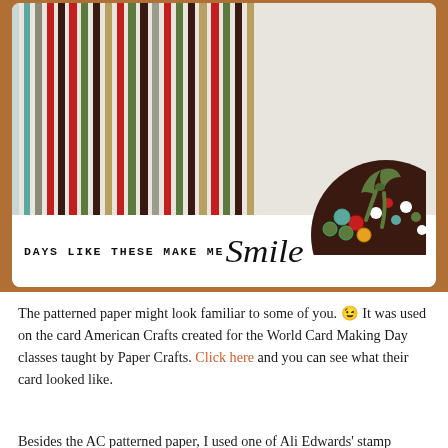[Figure (photo): A handmade greeting card with colorful vertical stripes (red, dark brown, green, teal, gold, gray, white) on the upper portion, and a white bottom section stamped with 'DAYS LIKE THESE MAKE ME' in typewriter font and 'Smile' in script. A decorative dark brown half-circle embellishment with colorful polka-dot brads and a green ribbon bow is positioned at the right side.]
The patterned paper might look familiar to some of you. 😉 It was used on the card American Crafts created for the World Card Making Day classes taught by Paper Crafts. Click here and you can see what their card looked like.
Besides the AC patterned paper, I used one of Ali Edwards' stamp